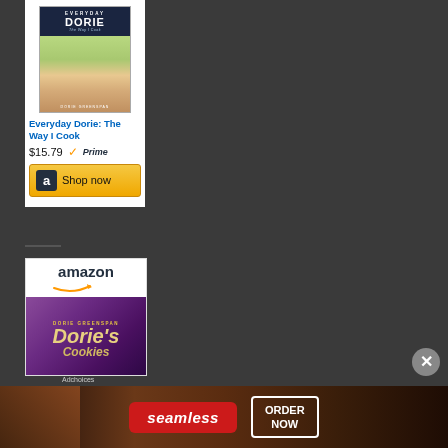[Figure (screenshot): Amazon advertisement for 'Everyday Dorie: The Way I Cook' book priced at $15.79 with Prime badge and Shop now button]
[Figure (screenshot): Second Amazon advertisement showing another Dorie Greenspan book with purple cover]
[Figure (screenshot): Seamless food delivery banner ad with ORDER NOW button at bottom of page]